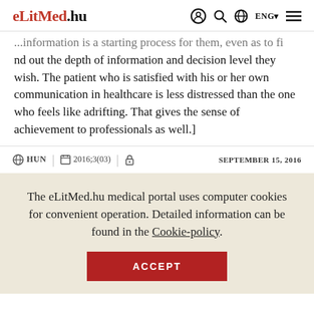eLitMed.hu  ENG
...information is a starting process for them, even as to find out the depth of information and decision level they wish. The patient who is satisfied with his or her own communication in healthcare is less distressed than the one who feels like adrifting. That gives the sense of achievement to professionals as well.]
HUN  2016;3(03)  SEPTEMBER 15, 2016
The eLitMed.hu medical portal uses computer cookies for convenient operation. Detailed information can be found in the Cookie-policy.
ACCEPT